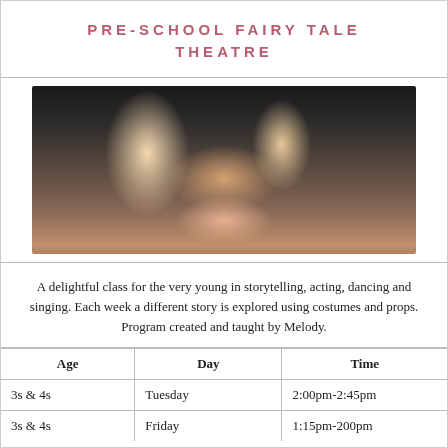PRE-SCHOOL FAIRY TALE THEATRE
[Figure (photo): Group photo of children in costumes with two adult instructors on a stage with dark background, performing in a fairy tale theatre class.]
A delightful class for the very young in storytelling, acting, dancing and singing. Each week a different story is explored using costumes and props. Program created and taught by Melody.
| Age | Day | Time |
| --- | --- | --- |
| 3s & 4s | Tuesday | 2:00pm-2:45pm |
| 3s & 4s | Friday | 1:15pm-200pm |